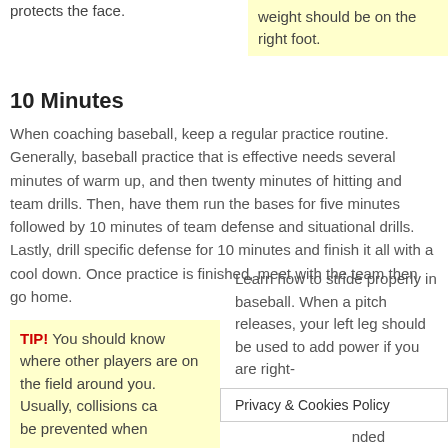protects the face.
weight should be on the right foot.
10 Minutes
When coaching baseball, keep a regular practice routine. Generally, baseball practice that is effective needs several minutes of warm up, and then twenty minutes of hitting and team drills. Then, have them run the bases for five minutes followed by 10 minutes of team defense and situational drills. Lastly, drill specific defense for 10 minutes and finish it all with a cool down. Once practice is finished, meet with the team then go home.
TIP! You should know where other players are on the field around you. Usually, collisions ca be prevented when
Learn how to stride properly in baseball. When a pitch releases, your left leg should be used to add power if you are right- osite if nded
Privacy & Cookies Policy